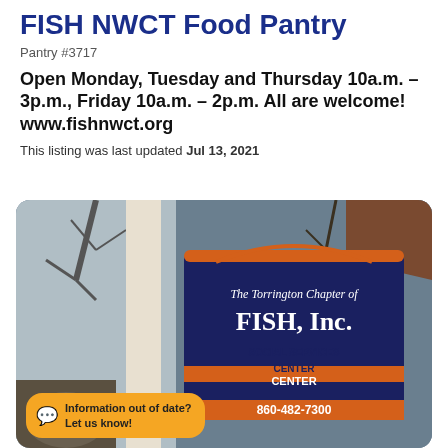FISH NWCT Food Pantry
Pantry #3717
Open Monday, Tuesday and Thursday 10a.m. – 3p.m., Friday 10a.m. – 2p.m. All are welcome! www.fishnwct.org
This listing was last updated Jul 13, 2021
[Figure (photo): Outdoor photo showing a sign for The Torrington Chapter of FISH, Inc. Social Services Center with phone number 860-482-7300, and a chat bubble overlay saying 'Information out of date? Let us know!']